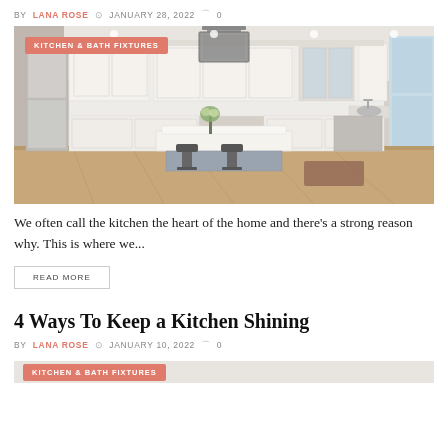BY LANA ROSE  JANUARY 28, 2022  0
[Figure (photo): Modern white kitchen with island, bar stools, pendant light, stainless steel appliances, and hardwood floor. Badge overlay: KITCHEN & BATH FIXTURES]
We often call the kitchen the heart of the home and there's a strong reason why. This is where we...
READ MORE
4 Ways To Keep a Kitchen Shining
BY LANA ROSE  JANUARY 10, 2022  0
[Figure (photo): Partial view: KITCHEN & BATH FIXTURES badge on another kitchen photo]